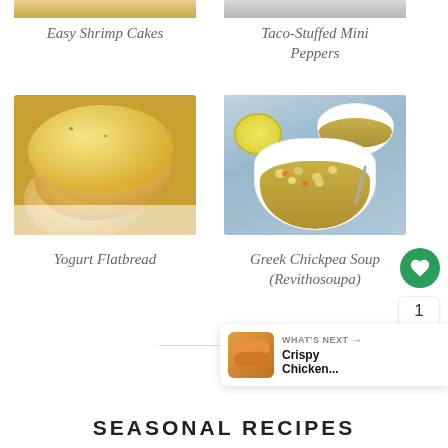[Figure (photo): Partial top image of Easy Shrimp Cakes recipe]
Easy Shrimp Cakes
[Figure (photo): Partial top image of Taco-Stuffed Mini Peppers recipe]
Taco-Stuffed Mini Peppers
[Figure (photo): Photo of Yogurt Flatbread - golden flatbread pieces in a basket]
Yogurt Flatbread
[Figure (photo): Photo of Greek Chickpea Soup (Revithosoupa) - bowl of chickpea soup with lemon and spoon]
Greek Chickpea Soup (Revithosoupa)
[Figure (infographic): What's Next banner showing Crispy Chicken... with thumbnail]
SEASONAL RECIPES